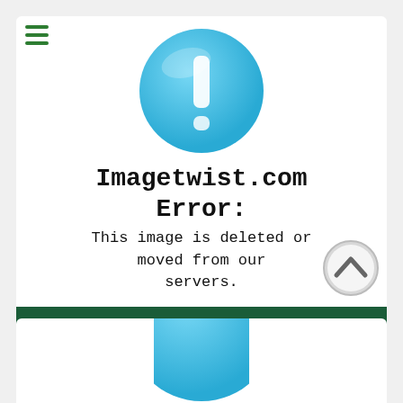[Figure (screenshot): Imagetwist.com error page screenshot showing a blue circle with exclamation mark, error message text, and a dark green bar with title text. A hamburger menu icon appears top-left. A back-to-top button appears bottom-right. A second partial error card is visible at the bottom.]
Imagetwist.com Error:
This image is deleted or moved from our servers.
[Blacked.com] Eliza Ibarra - Girls Weekend